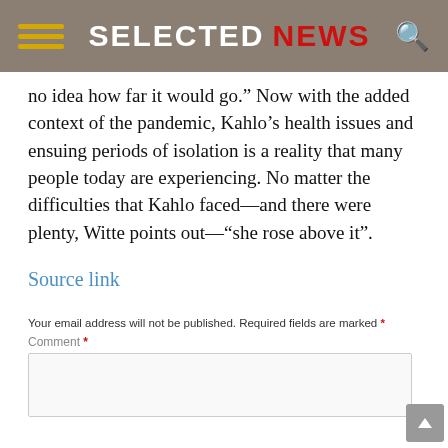SELECTED NEWS
no idea how far it would go.” Now with the added context of the pandemic, Kahlo’s health issues and ensuing periods of isolation is a reality that many people today are experiencing. No matter the difficulties that Kahlo faced—and there were plenty, Witte points out—“she rose above it”.
Source link
Your email address will not be published. Required fields are marked *
Comment *